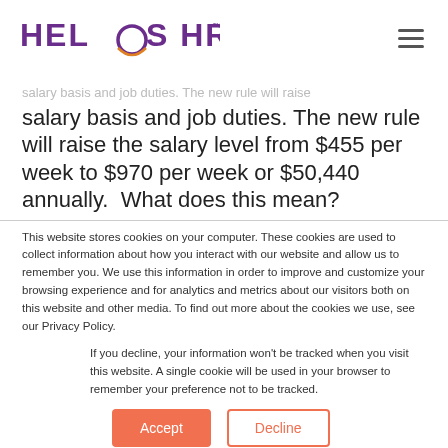HELIOS HR
salary basis and job duties. The new rule will raise the salary level from $455 per week to $970 per week or $50,440 annually.  What does this mean?
This website stores cookies on your computer. These cookies are used to collect information about how you interact with our website and allow us to remember you. We use this information in order to improve and customize your browsing experience and for analytics and metrics about our visitors both on this website and other media. To find out more about the cookies we use, see our Privacy Policy.
If you decline, your information won't be tracked when you visit this website. A single cookie will be used in your browser to remember your preference not to be tracked.